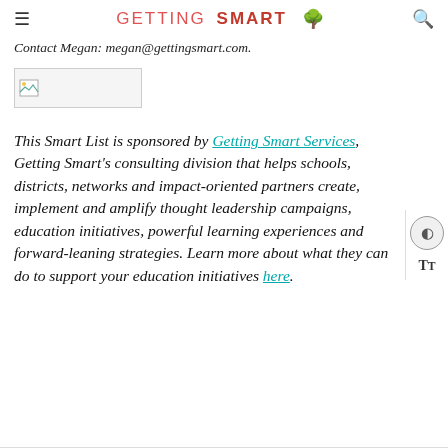GETTING SMART
Contact Megan: megan@gettingsmart.com.
[Figure (other): Small broken image placeholder icon]
This Smart List is sponsored by Getting Smart Services, Getting Smart's consulting division that helps schools, districts, networks and impact-oriented partners create, implement and amplify thought leadership campaigns, education initiatives, powerful learning experiences and forward-leaning strategies. Learn more about what they can do to support your education initiatives here.